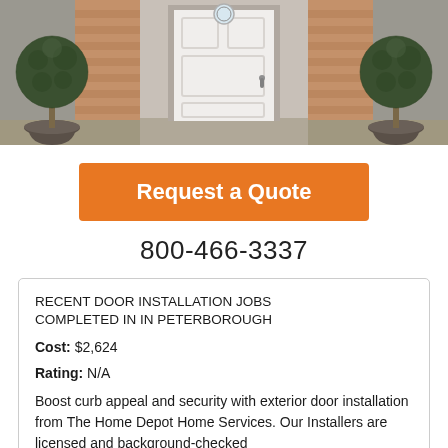[Figure (photo): Photo of a white front door with decorative glass panel and two round topiary plants in dark urns on either side, flanked by brick and siding exterior]
Request a Quote
800-466-3337
RECENT DOOR INSTALLATION JOBS COMPLETED IN IN PETERBOROUGH
Cost: $2,624
Rating: N/A
Boost curb appeal and security with exterior door installation from The Home Depot Home Services. Our Installers are licensed and background-checked